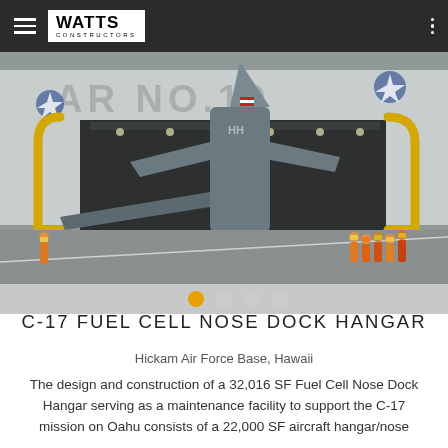Watts Constructors
[Figure (photo): A large military aircraft (C-17) with tail visible being serviced inside or exiting Hangar No. 19 at Hickam Air Force Base, Hawaii. Yellow-trimmed hangar doors visible, workers in safety vests on the ramp to the right.]
C-17 FUEL CELL NOSE DOCK HANGAR
Hickam Air Force Base, Hawaii
The design and construction of a 32,016 SF Fuel Cell Nose Dock Hangar serving as a maintenance facility to support the C-17 mission on Oahu consists of a 22,000 SF aircraft hangar/nose